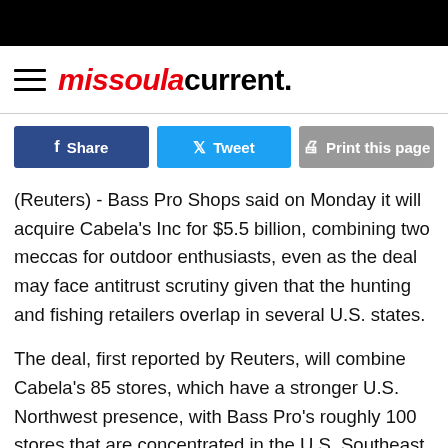missoula current.
Share  Tweet  Print this page
(Reuters) - Bass Pro Shops said on Monday it will acquire Cabela's Inc for $5.5 billion, combining two meccas for outdoor enthusiasts, even as the deal may face antitrust scrutiny given that the hunting and fishing retailers overlap in several U.S. states.
The deal, first reported by Reuters, will combine Cabela's 85 stores, which have a stronger U.S. Northwest presence, with Bass Pro's roughly 100 stores that are concentrated in the U.S. Southeast.